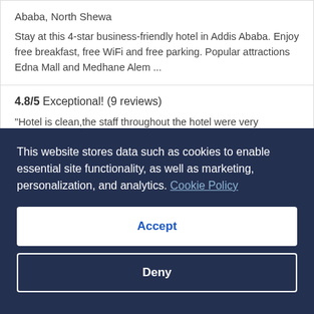Ababa, North Shewa
Stay at this 4-star business-friendly hotel in Addis Ababa. Enjoy free breakfast, free WiFi and free parking. Popular attractions Edna Mall and Medhane Alem ...
4.8/5 Exceptional! (9 reviews)
"Hotel is clean,the staff throughout the hotel were very professional, friendly and extremely helpful.The breakfasts were amazing. The location of the hotel is great. I will book it again…
Reviewed on 24 Jul 2022
[Figure (screenshot): Hotel listing image thumbnail for Best Western Plus Addis Ababa with heart/save icon]
This website stores data such as cookies to enable essential site functionality, as well as marketing, personalization, and analytics. Cookie Policy
Accept
Deny